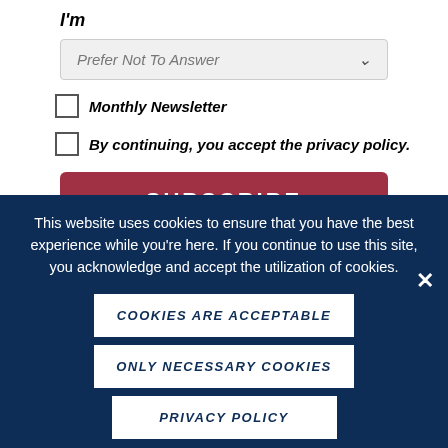I'm
Prefer Not To Answer
Monthly Newsletter
By continuing, you accept the privacy policy.
SUBSCRIBE
This website uses cookies to ensure that you have the best experience while you're here. If you continue to use this site, you acknowledge and accept the utilization of cookies.
COOKIES ARE ACCEPTABLE
ONLY NECESSARY COOKIES
PRIVACY POLICY